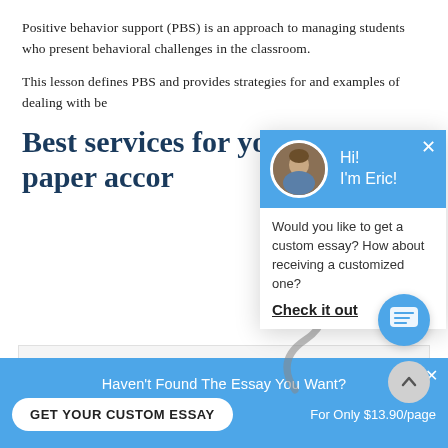Positive behavior support (PBS) is an approach to managing students who present behavioral challenges in the classroom.
This lesson defines PBS and provides strategies for and examples of dealing with be...
Best services for your paper accor...
[Figure (screenshot): Chat popup with avatar of Eric, blue header saying Hi! I'm Eric!, body text: Would you like to get a custom essay? How about receiving a customized one? Check it out (underlined)]
Edu
Writing
Prem
From $18.00 per page
★★★★★ 4.8 / 5
Haven't Found The Essay You Want?
GET YOUR CUSTOM ESSAY
For Only $13.90/page